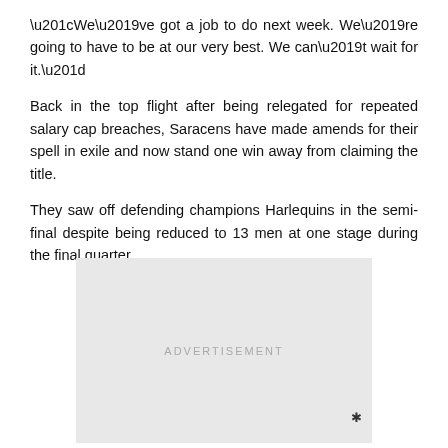“We’ve got a job to do next week. We’re going to have to be at our very best. We can’t wait for it.”
Back in the top flight after being relegated for repeated salary cap breaches, Saracens have made amends for their spell in exile and now stand one win away from claiming the title.
They saw off defending champions Harlequins in the semi-final despite being reduced to 13 men at one stage during the final quarter.
[Figure (other): Advertisement placeholder box with 'ADVERTISEMENT' label in grey text and a small close/asterisk symbol in the bottom right corner.]